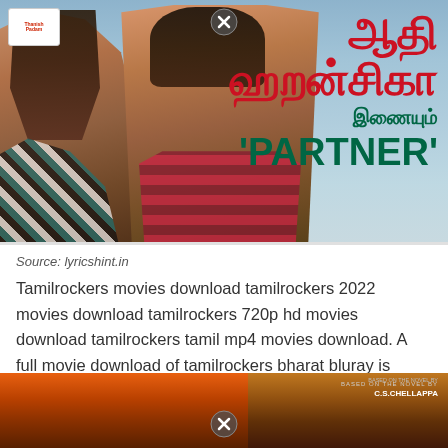[Figure (photo): Movie promotional banner/poster showing a woman on the left in a black and teal patterned jacket, a man in the center wearing a plaid shirt, Tamil text on the right reading 'ஆதி ஹறன்சிகா' in red, 'இணையும்' in green, and 'PARTNER' in large green letters. A logo for 'Thanish Padam' appears top left, and a close/X button circle appears at the top center.]
Source: lyricshint.in
Tamilrockers movies download tamilrockers 2022 movies download tamilrockers 720p hd movies download tamilrockers tamil mp4 movies download. A full movie download of tamilrockers bharat bluray is available for all fans of tamil cinema who have been waiting for this release.
[Figure (photo): Bottom portion of another movie poster with warm orange/brown tones, showing a person at bottom center, text on right side reads 'BASED ON THE NOVEL BY C.S.CHELLAPPA'. A close/X button circle appears at the bottom center.]